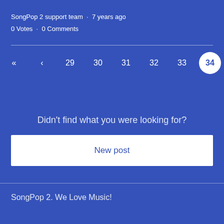SongPop 2 support team · 7 years ago
0 Votes · 0 Comments
« ‹ 29 30 31 32 33 34
Didn't find what you were looking for?
New post
SongPop 2. We Love Music!